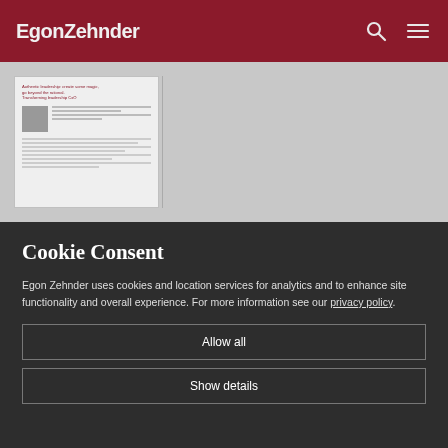EgonZehnder
[Figure (screenshot): Preview of an article page showing a document with title 'Authentic leadership: create some magic, go beyond the rational. Transforming leadership CxO' with a small author photo and body text]
Cookie Consent
Egon Zehnder uses cookies and location services for analytics and to enhance site functionality and overall experience. For more information see our privacy policy.
Allow all
Show details